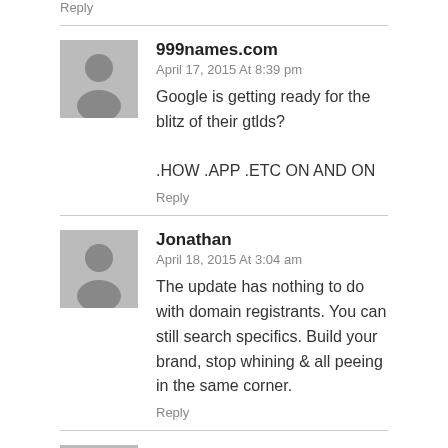Reply
999names.com
April 17, 2015 At 8:39 pm
Google is getting ready for the blitz of their gtlds?

.HOW .APP .ETC ON AND ON
Reply
Jonathan
April 18, 2015 At 3:04 am
The update has nothing to do with domain registrants. You can still search specifics. Build your brand, stop whining & all peeing in the same corner.
Reply
I love the war if it is for Freedom